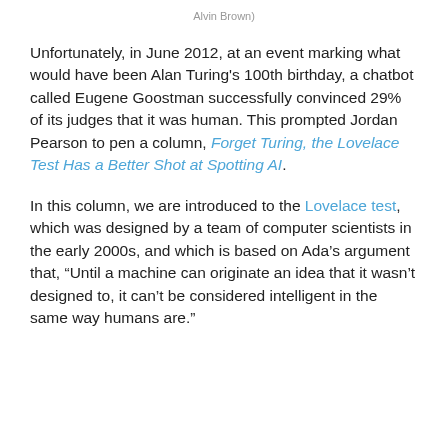Alvin Brown)
Unfortunately, in June 2012, at an event marking what would have been Alan Turing's 100th birthday, a chatbot called Eugene Goostman successfully convinced 29% of its judges that it was human. This prompted Jordan Pearson to pen a column, Forget Turing, the Lovelace Test Has a Better Shot at Spotting AI.
In this column, we are introduced to the Lovelace test, which was designed by a team of computer scientists in the early 2000s, and which is based on Ada's argument that, "Until a machine can originate an idea that it wasn't designed to, it can't be considered intelligent in the same way humans are."